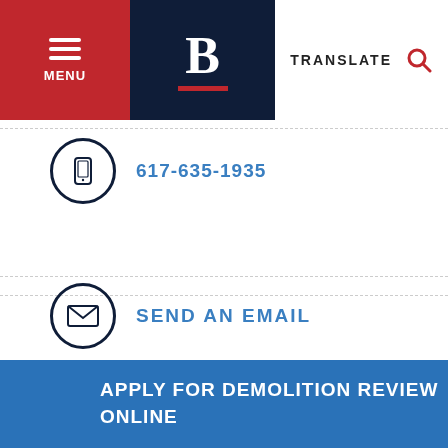[Figure (screenshot): City of Boston government website header with red menu button, dark blue logo with B, and TRANSLATE / search icon on right]
617-635-1935
SEND AN EMAIL
20 CITY HALL AVENUE
3RD FLOOR
BOSTON, MA 02108
BACK TO TOP
APPLY FOR DEMOLITION REVIEW ONLINE